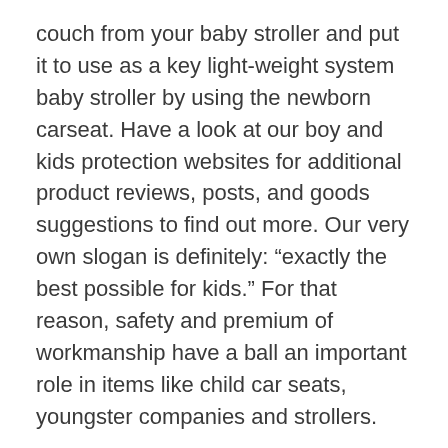couch from your baby stroller and put it to use as a key light-weight system baby stroller by using the newborn carseat. Have a look at our boy and kids protection websites for additional product reviews, posts, and goods suggestions to find out more. Our very own slogan is definitely: “exactly the best possible for kids.” For that reason, safety and premium of workmanship have a ball an important role in items like child car seats, youngster companies and strollers.
It had been important to all of us these trackers were easy bring way too, consequently most people as well obtained measure and variety into consideration. Baby’s eyelids in near proximity and can not reopen until in regards to the 28th day. The Amber warn GPS locator makes it possible to keep track of your son or daughter’s whereabouts everyday. As a Dark mama of an Afro-